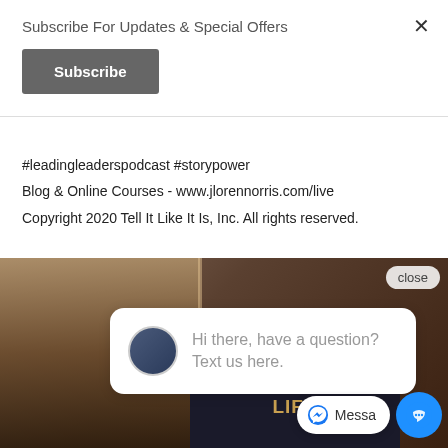Subscribe For Updates & Special Offers
Subscribe
#leadingleaderspodcast #storypower
Blog & Online Courses - www.jlorennorris.com/live
Copyright 2020 Tell It Like It Is, Inc. All rights reserved.
[Figure (screenshot): Screenshot of a webpage showing a photo of people laughing with a dark sign reading LIVE A MORE EXCELLENT LIFE, overlaid with a chat popup saying 'Hi there, have a question? Text us here.' with an avatar, a close button, and a Messenger chat button at bottom right.]